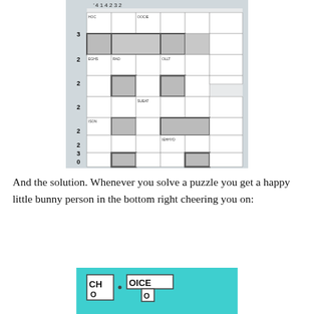[Figure (screenshot): A word puzzle grid/crossword-style game screenshot with rows labeled 3,2,2,2,2,2,3,0 on the left and column values 4,1,4,2,3,2 at top. Cell annotations include HOC, OOCIE, EGHS, RAD, OLLT, SUEAT, ISON, IEHHYD. Some cells are shaded gray, some have thick black borders.]
And the solution. Whenever you solve a puzzle you get a happy little bunny person in the bottom right cheering you on:
[Figure (screenshot): A teal/cyan background panel showing a crossword-style word display with letters C, H, O in a square and O, I, C, E in a row with O below, forming 'CHOICE'.]